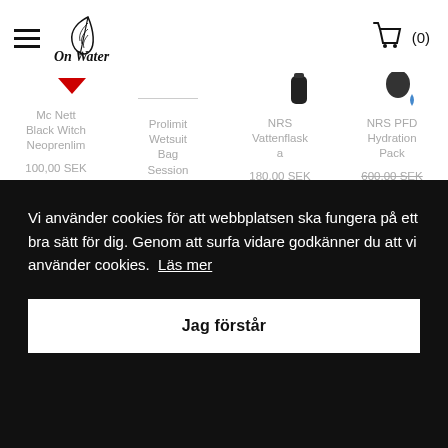On Water — navigation header with hamburger menu, logo, and cart (0)
[Figure (screenshot): Product listing row showing: Mc Nett Black Witch Neoprenlim (100,00 SEK), Prolimit Wetsuit Bag Session, NRS Vattenflaska (180,00 SEK), NRS PFD Hydration Pack (600,00 SEK / 9,00 SEK sale)]
Vi använder cookies för att webbplatsen ska fungera på ett bra sätt för dig. Genom att surfa vidare godkänner du att vi använder cookies. Läs mer
Jag förstår